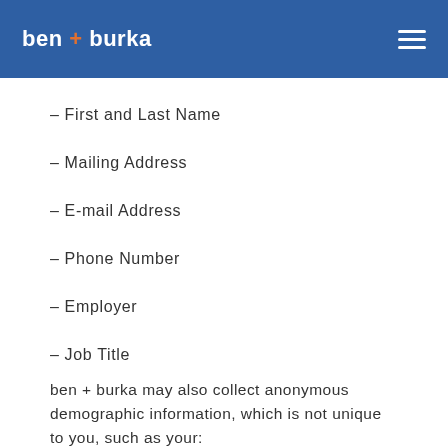ben + burka
– First and Last Name
– Mailing Address
– E-mail Address
– Phone Number
– Employer
– Job Title
ben + burka may also collect anonymous demographic information, which is not unique to you, such as your:
– Age